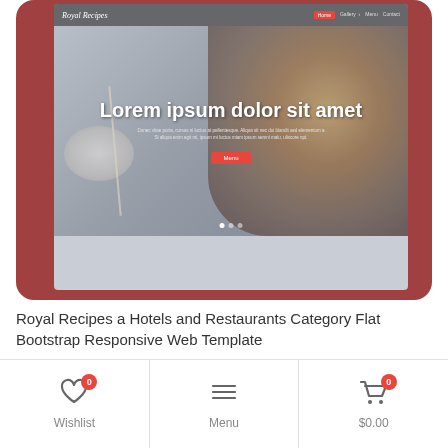[Figure (screenshot): Screenshot of Royal Recipes website template showing a tablet mockup with a restaurant/food hero image, navigation bar with 'Royal Recipes' logo, large heading 'Lorem ipsum dolor sit amet', subtext, and a red 'Menu' button.]
Royal Recipes a Hotels and Restaurants Category Flat Bootstrap Responsive Web Template
[Figure (infographic): Bottom navigation bar with three sections: Wishlist (heart icon, red badge '0'), Menu (hamburger icon), Cart (shopping cart icon, red badge '0', '$0.00')]